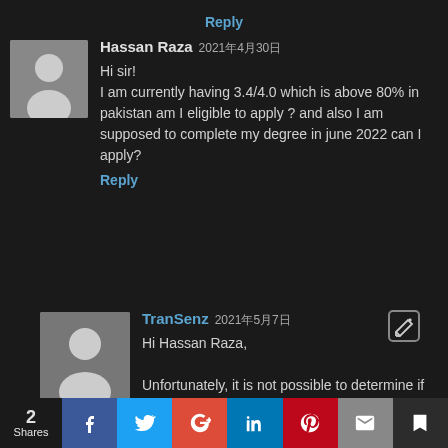Reply
Hassan Raza 2021年4月30日
Hi sir!
I am currently having 3.4/4.0 which is above 80% in pakistan am I eligible to apply ? and also I am supposed to complete my degree in june 2022 can I apply?
Reply
TranSenz 2021年5月7日
Hi Hassan Raza,
Unfortunately, it is not possible to determine if you are eligible based on the MEXT scale by converting
2 Shares  [Facebook] [Twitter] [Google+] [LinkedIn] [Pinterest] [Email] [Bookmark]